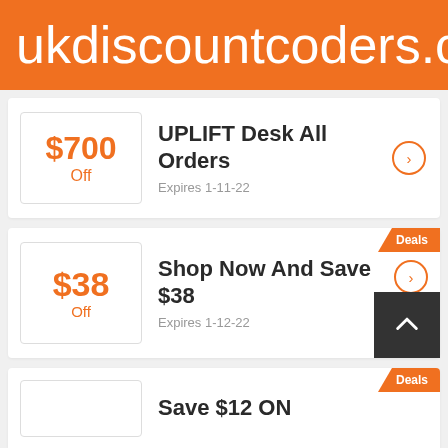ukdiscountcoders.c
$700 Off — UPLIFT Desk All Orders — Expires 1-11-22
$38 Off — Shop Now And Save $38 — Expires 1-12-22
Save $12 ON